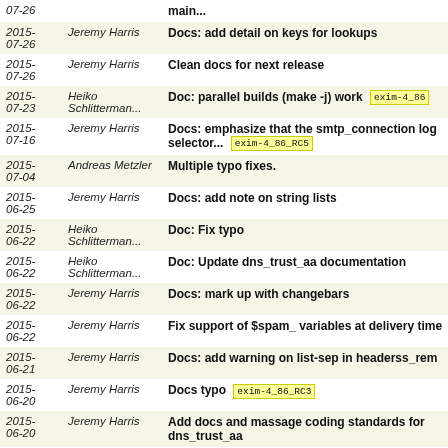| Date | Author | Message |
| --- | --- | --- |
| 2015-07-26 |  | main... |
| 2015-07-26 | Jeremy Harris | Docs: add detail on keys for lookups |
| 2015-07-26 | Jeremy Harris | Clean docs for next release |
| 2015-07-23 | Heiko Schlitterman... | Doc: parallel builds (make -j) work  exim-4_86 |
| 2015-07-16 | Jeremy Harris | Docs: emphasize that the smtp_connection log selector...  exim-4_86_RC5 |
| 2015-07-04 | Andreas Metzler | Multiple typo fixes. |
| 2015-06-25 | Jeremy Harris | Docs: add note on string lists |
| 2015-06-22 | Heiko Schlitterman... | Doc: Fix typo |
| 2015-06-22 | Heiko Schlitterman... | Doc: Update dns_trust_aa documentation |
| 2015-06-22 | Jeremy Harris | Docs: mark up with changebars |
| 2015-06-22 | Jeremy Harris | Fix support of $spam_ variables at delivery time |
| 2015-06-21 | Jeremy Harris | Docs: add warning on list-sep in headerss_rem |
| 2015-06-20 | Jeremy Harris | Docs typo  exim-4_86_RC3 |
| 2015-06-20 | Jeremy Harris | Add docs and massage coding standards for dns_trust_aa |